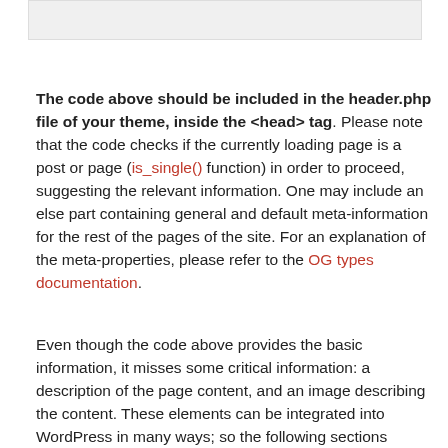[Figure (other): Gray placeholder image bar at the top of the page]
The code above should be included in the header.php file of your theme, inside the <head> tag. Please note that the code checks if the currently loading page is a post or page (is_single() function) in order to proceed, suggesting the relevant information. One may include an else part containing general and default meta-information for the rest of the pages of the site. For an explanation of the meta-properties, please refer to the OG types documentation.
Even though the code above provides the basic information, it misses some critical information: a description of the page content, and an image describing the content. These elements can be integrated into WordPress in many ways; so the following sections provide